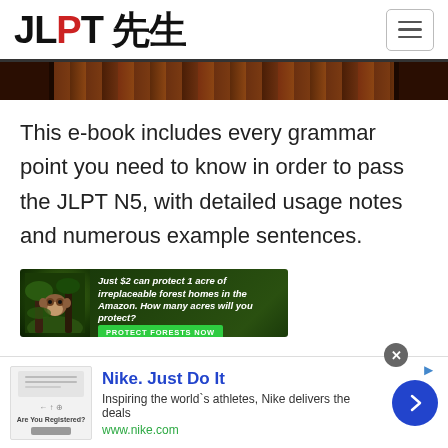JLPT 先生
[Figure (photo): Dark wood grain texture image strip]
This e-book includes every grammar point you need to know in order to pass the JLPT N5, with detailed usage notes and numerous example sentences.
[Figure (infographic): Advertisement: Just $2 can protect 1 acre of irreplaceable forest homes in the Amazon. How many acres will you protect? PROTECT FORESTS NOW]
[Figure (infographic): Nike advertisement: Nike. Just Do It. Inspiring the world's athletes, Nike delivers the deals. www.nike.com]